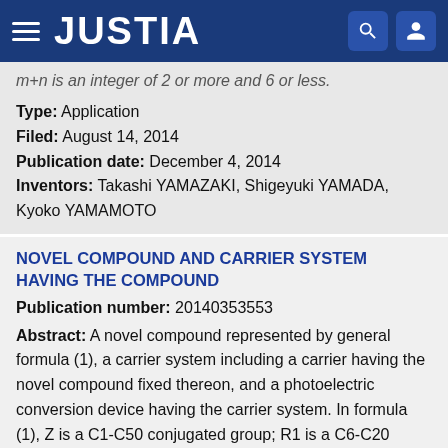JUSTIA
m+n is an integer of 2 or more and 6 or less.
Type: Application
Filed: August 14, 2014
Publication date: December 4, 2014
Inventors: Takashi YAMAZAKI, Shigeyuki YAMADA, Kyoko YAMAMOTO
NOVEL COMPOUND AND CARRIER SYSTEM HAVING THE COMPOUND
Publication number: 20140353553
Abstract: A novel compound represented by general formula (1), a carrier system including a carrier having the novel compound fixed thereon, and a photoelectric conversion device having the carrier system. In formula (1), Z is a C1-C50 conjugated group; R1 is a C6-C20 aromatic hydrocarbon group, a C7-C20 aromatic hydrocarbon group substituted by an aliphatic